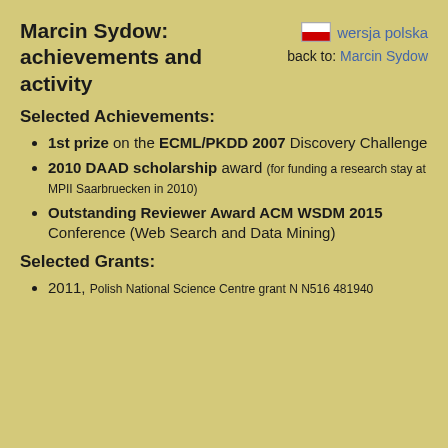Marcin Sydow:
achievements and activity
wersja polska
back to: Marcin Sydow
Selected Achievements:
1st prize on the ECML/PKDD 2007 Discovery Challenge
2010 DAAD scholarship award (for funding a research stay at MPII Saarbruecken in 2010)
Outstanding Reviewer Award ACM WSDM 2015 Conference (Web Search and Data Mining)
Selected Grants:
2011, Polish National Science Centre grant N N516 481940